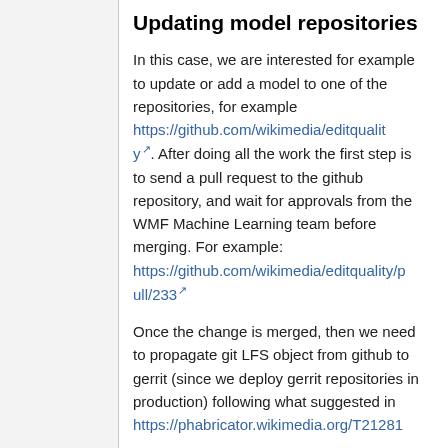Updating model repositories
In this case, we are interested for example to update or add a model to one of the repositories, for example https://github.com/wikimedia/editquality. After doing all the work the first step is to send a pull request to the github repository, and wait for approvals from the WMF Machine Learning team before merging. For example: https://github.com/wikimedia/editquality/pull/233
Once the change is merged, then we need to propagate git LFS object from github to gerrit (since we deploy gerrit repositories in production) following what suggested in https://phabricator.wikimedia.org/T21281